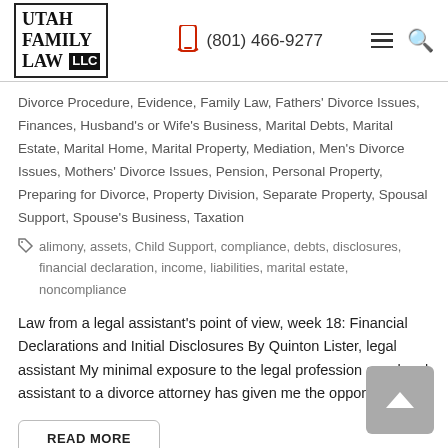[Figure (logo): Utah Family Law LLC logo with bordered box]
(801) 466-9277
Divorce Procedure, Evidence, Family Law, Fathers' Divorce Issues, Finances, Husband's or Wife's Business, Marital Debts, Marital Estate, Marital Home, Marital Property, Mediation, Men's Divorce Issues, Mothers' Divorce Issues, Pension, Personal Property, Preparing for Divorce, Property Division, Separate Property, Spousal Support, Spouse's Business, Taxation
alimony, assets, Child Support, compliance, debts, disclosures, financial declaration, income, liabilities, marital estate, noncompliance
Law from a legal assistant's point of view, week 18: Financial Declarations and Initial Disclosures By Quinton Lister, legal assistant My minimal exposure to the legal profession as a legal assistant to a divorce attorney has given me the opportunity…
READ MORE